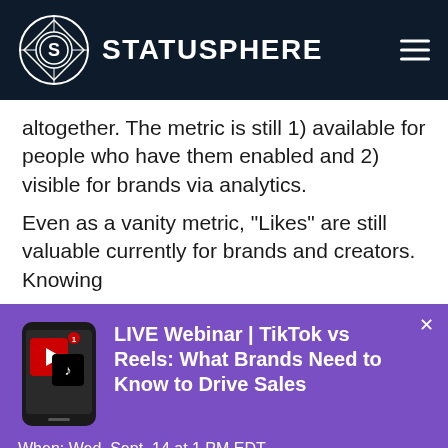STATUSPHERE
altogether. The metric is still 1) available for people who have them enabled and 2) visible for brands via analytics.

Even as a vanity metric, “Likes” are still valuable currently for brands and creators. Knowing
[Figure (infographic): Promotional popup banner for LIVE Webinar: TikTok vs Reels: What Brands Need to Know to Drive Sales. When: Wed, Sept. 14 at 1 PM EDT. With a phone graphic showing YouTube and TikTok logos, and an RSVP button.]